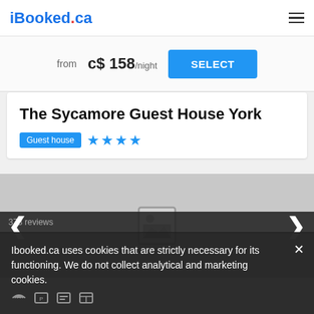iBooked.ca
from c$ 158/night
SELECT
The Sycamore Guest House York
Guest house ★★★★
[Figure (photo): Hotel image placeholder with navigation arrows]
Ibooked.ca uses cookies that are strictly necessary for its functioning. We do not collect analytical and marketing cookies.
378 reviews